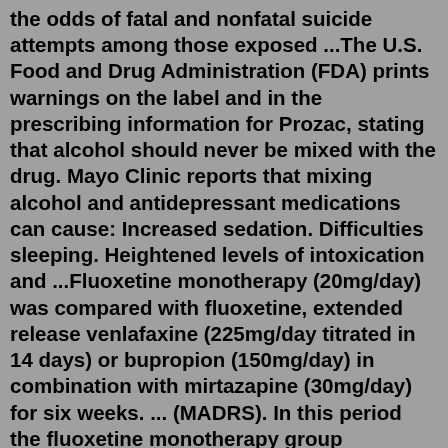the odds of fatal and nonfatal suicide attempts among those exposed ...The U.S. Food and Drug Administration (FDA) prints warnings on the label and in the prescribing information for Prozac, stating that alcohol should never be mixed with the drug. Mayo Clinic reports that mixing alcohol and antidepressant medications can cause: Increased sedation. Difficulties sleeping. Heightened levels of intoxication and ...Fluoxetine monotherapy (20mg/day) was compared with fluoxetine, extended release venlafaxine (225mg/day titrated in 14 days) or bupropion (150mg/day) in combination with mirtazapine (30mg/day) for six weeks. ... (MADRS). In this period the fluoxetine monotherapy group continued their treatment, the fluoxetine plus mirtazapine group discontinued ...Common SNRIs include venlafaxine (sold as Effexor®), duloxetine (Cymbalta®) and desvenlafaxine (Pristiq®). ... In some cases, you may need to take one of the medications listed above in combination with a form of therapy to treat your symptoms and work towards